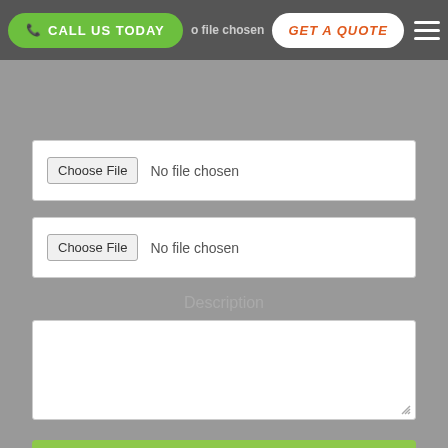[Figure (screenshot): Navigation bar with green 'CALL US TODAY' button, file input showing 'No file chosen', orange 'GET A QUOTE' button on white pill, and hamburger menu icon on dark background]
[Figure (screenshot): Web form with two file upload inputs (Choose File / No file chosen), a Description label, a textarea, and a green SUBMIT button on grey background]